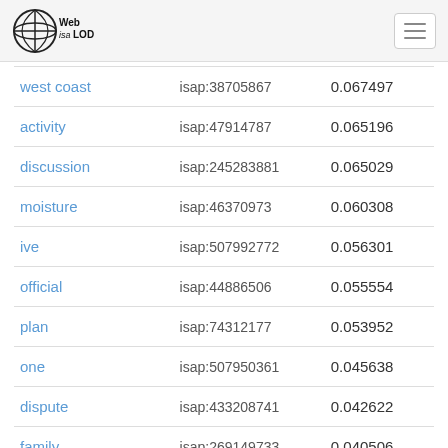Web isa LOD
| west coast | isap:38705867 | 0.067497 |
| activity | isap:47914787 | 0.065196 |
| discussion | isap:245283881 | 0.065029 |
| moisture | isap:46370973 | 0.060308 |
| ive | isap:507992772 | 0.056301 |
| official | isap:44886506 | 0.055554 |
| plan | isap:74312177 | 0.053952 |
| one | isap:507950361 | 0.045638 |
| dispute | isap:433208741 | 0.042622 |
| family | isap:269149733 | 0.040506 |